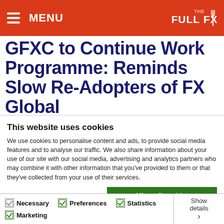MENU  THE FULL FX
GFXC to Continue Work Programme: Reminds Slow Re-Adopters of FX Global
This website uses cookies
We use cookies to personalise content and ads, to provide social media features and to analyse our traffic. We also share information about your use of our site with our social media, advertising and analytics partners who may combine it with other information that you've provided to them or that they've collected from your use of their services.
Allow all cookies
Allow selection
Use necessary cookies only
Necessary  Preferences  Statistics  Marketing  Show details